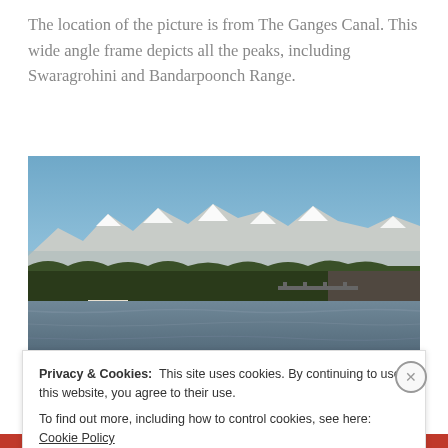The location of the picture is from The Ganges Canal. This wide angle frame depicts all the peaks, including Swaragrohini and Bandarpoonch Range.
[Figure (photo): Wide angle photo of The Ganges Canal showing snow-capped peaks including Swaragrohini and Bandarpoonch Range in the background, with trees and riverbank in the foreground. Watermark: Arvind Bahuguna]
One of the reasons why this view is rare is due to the
Privacy & Cookies: This site uses cookies. By continuing to use this website, you agree to their use. To find out more, including how to control cookies, see here: Cookie Policy
Close and accept